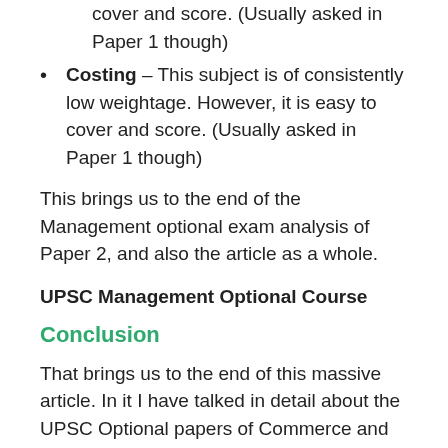cover and score. (Usually asked in Paper 1 though)
Costing – This subject is of consistently low weightage. However, it is easy to cover and score. (Usually asked in Paper 1 though)
This brings us to the end of the Management optional exam analysis of Paper 2, and also the article as a whole.
UPSC Management Optional Course
Conclusion
That brings us to the end of this massive article. In it I have talked in detail about the UPSC Optional papers of Commerce and Management, and I have also given